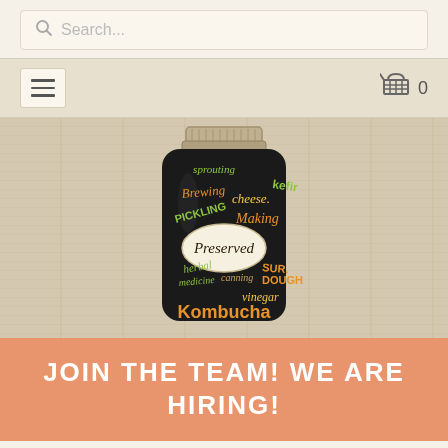[Figure (screenshot): Search bar with magnifying glass icon and placeholder text 'Search...']
[Figure (screenshot): Navigation bar with hamburger menu icon on left and shopping cart with '0' on right]
[Figure (illustration): A mason jar illustration on a wood-grain background. The jar is filled with colorful hand-lettered fermentation/food preservation words: sprouting, kefir, Brewing, cheese, Making, PICKLING, Preserved (on label), herbal, medicine, canning, SUR-DOUGH, vinegar, Kombucha]
JOIN THE TEAM! WE ARE HIRING!
DASHI